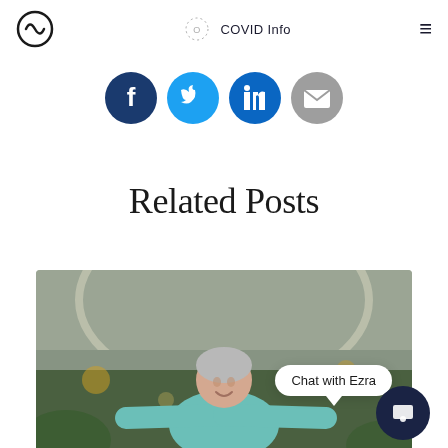COVID Info
[Figure (illustration): Social media sharing icons: Facebook (dark blue), Twitter (blue), LinkedIn (blue), Email (gray)]
Related Posts
[Figure (photo): Middle-aged woman with short gray hair wearing a teal t-shirt, arms outstretched, smiling, in an indoor garden or greenhouse setting with an arched glass ceiling and green plants]
Chat with Ezra